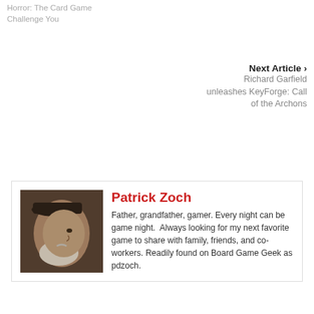Horror: The Card Game Challenge You
Next Article ›
Richard Garfield unleashes KeyForge: Call of the Archons
[Figure (photo): Portrait photo of Patrick Zoch, an older man with a white beard wearing a dark cap, shown in profile.]
Patrick Zoch
Father, grandfather, gamer. Every night can be game night.  Always looking for my next favorite game to share with family, friends, and co-workers. Readily found on Board Game Geek as pdzoch.
[Figure (infographic): Row of four social media icons: Facebook (blue), Twitter (light blue), YouTube (red), RSS (orange).]
Recent Posts
Ravensburger hopes to build a symbiotic relationship with fans in Marvel Villainous: We are Venom
Eagle-Gryphon Games gets a bright idea by publishing Vital Lacerda's Inventions: Evolution of Idea